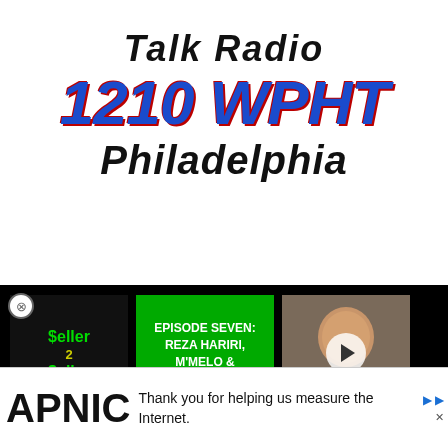[Figure (logo): Talk Radio 1210 WPHT Philadelphia logo. 'Talk Radio' in black bold italic, '1210 WPHT' in large blue bold italic with red outline effect, 'Philadelphia' in black bold italic below.]
prime example of how hard work pays off. 25 years ago he began his career at Talk Radio 1210 WPHT as an intern.
announced that Stocker was
[Figure (screenshot): Podcast advertisement overlay for 'Seller 2 Seller with Jeff Goynes' Episode Seven featuring Reza Hariri, M'Melo & Estra Media, with a photo of a man. UPDATE YOUR THINKING / MAKE MORE MONEY banner below in blue text on black background.]
[Figure (screenshot): APNIC banner ad at bottom: APNIC logo and text 'Thank you for helping us measure the Internet.']